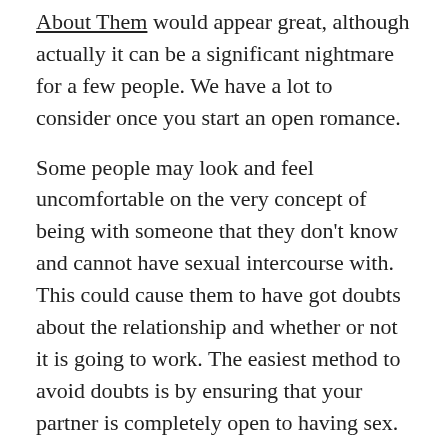About Them would appear great, although actually it can be a significant nightmare for a few people. We have a lot to consider once you start an open romance.
Some people may look and feel uncomfortable on the very concept of being with someone that they don't know and cannot have sexual intercourse with. This could cause them to have got doubts about the relationship and whether or not it is going to work. The easiest method to avoid doubts is by ensuring that your partner is completely open to having sex.
If you do not want to have sex however want to be in an open marriage, it is important to talk things